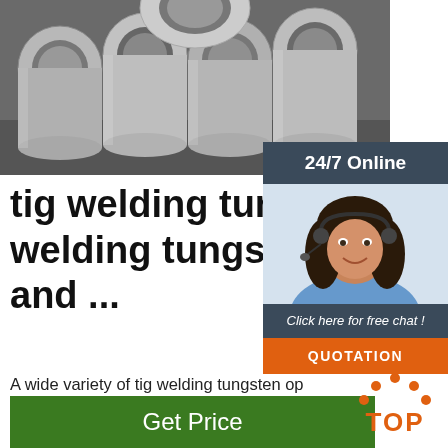[Figure (photo): Photo of metal/aluminum hollow pipes or tubes stacked together, viewed from the ends showing circular cross-sections, on a dark surface]
tig welding tungsten, tig welding tungsten Suppliers and ...
A wide variety of tig welding tungsten options are available to you, such as tungsten, copper alloy, and steel alloy. You can also choose from csa, reach tig welding tungsten, as well as from 5 years tig welding tungsten, and whether tig welding tungsten is oem, or obm.
[Figure (infographic): Customer service chat widget showing '24/7 Online' header in dark blue, photo of female customer service agent with headset, text 'Click here for free chat!', and orange QUOTATION button]
[Figure (logo): Orange TOP logo with dotted arc above the word TOP in orange text]
Get Price